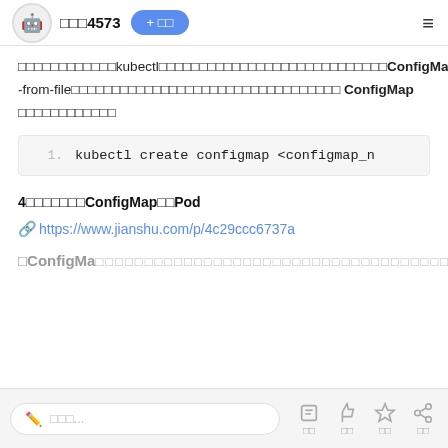□□□4573  + □□  ≡
□□□□□□□□□□□□kubectl□□□□□□□□□□□□□□□□□□□□□□□□□□□□ConfigMap□□□□□□□--from-file□□□□□□□□□□□□□□□□□□□□□□□□□□□□□□□□□ ConfigMap □□□□□□□□□□□□
4□□□□□□□ConfigMap□□Pod
https://www.jianshu.com/p/4c29ccc6737a
□ConfigMa□ □□□□□□□□□□□□□□□□□□□□□□□□□□□□□□□□□□□□□□□□□□□□□□□□□